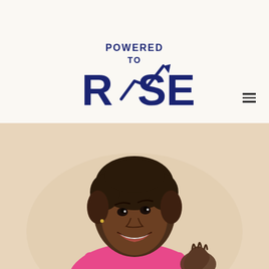[Figure (logo): Powered to Rise logo with dark navy text and upward trending arrow chart graphic replacing the 'I' in RISE]
[Figure (photo): Portrait photo of a smiling Black woman with short hair wearing a bright pink top, photographed against a warm beige background, looking upward and to the side with a joyful expression, hand raised]